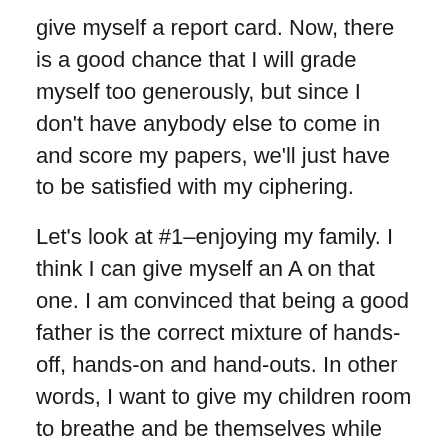give myself a report card. Now, there is a good chance that I will grade myself too generously, but since I don't have anybody else to come in and score my papers, we'll just have to be satisfied with my ciphering.
Let's look at #1–enjoying my family. I think I can give myself an A on that one. I am convinced that being a good father is the correct mixture of hands-off, hands-on and hand-outs. In other words, I want to give my children room to breathe and be themselves while simultaneously intervening when I see them racing toward the edge of a cliff–and never make them feel that if they hit a hard spot, they can't ask for assistance. I hope they all feel that way. So thus far, so good.
Concerning blessing all the people I meet, this has become a heart's desire and source of chilling excitement